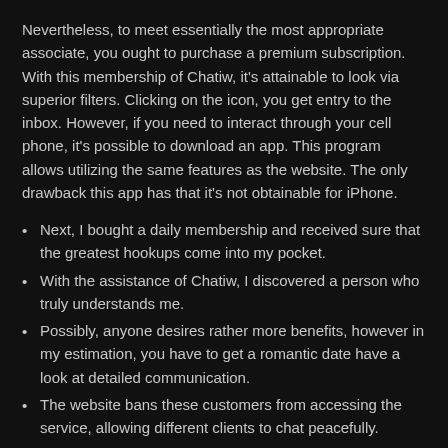Nevertheless, to meet essentially the most appropriate associate, you ought to purchase a premium subscription. With this membership of Chatiw, it's attainable to look via superior filters. Clicking on the icon, you get entry to the inbox. However, if you need to interact through your cell phone, it's possible to download an app. This program allows utilizing the same features as the website. The only drawback this app has that it's not obtainable for iPhone.
Next, I bought a daily membership and received sure that the greatest hookups come into my pocket.
With the assistance of Chatiw, I discovered a person who truly understands me.
Possibly, anyone desires rather more benefits, however in my estimation, you have to get a romantic date have a look at detailed communication.
The website bans these customers from accessing the service, allowing different clients to chat peacefully.
If you appreciated the one who came to your page, then immediately offer him a scorching intercourse date.
It is possible to agree that the modern world of online courting is type